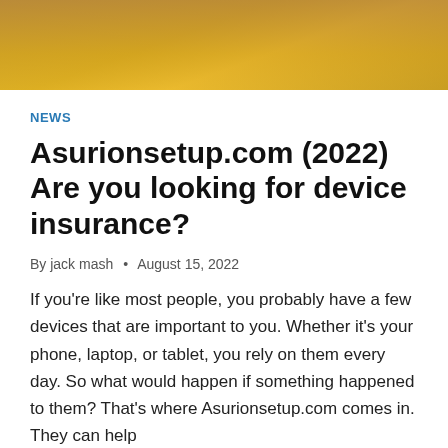[Figure (photo): Close-up photo of a hand against a golden/yellow background, cropped at top of page]
NEWS
Asurionsetup.com (2022) Are you looking for device insurance?
By jack mash • August 15, 2022
If you're like most people, you probably have a few devices that are important to you. Whether it's your phone, laptop, or tablet, you rely on them every day. So what would happen if something happened to them? That's where Asurionsetup.com comes in. They can help